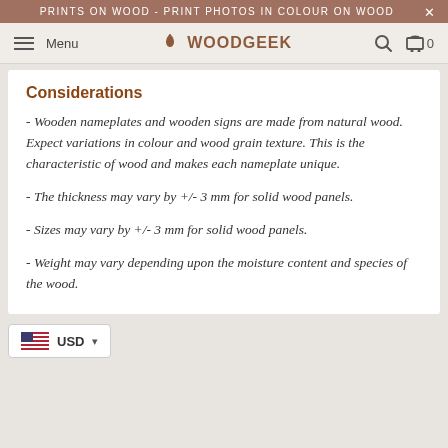PRINTS ON WOOD – PRINT PHOTOS IN COLOUR ON WOOD
[Figure (screenshot): Woodgeek website navigation bar with hamburger menu, Woodgeek logo with leaf icon, search and cart icons]
Considerations
– Wooden nameplates and wooden signs are made from natural wood. Expect variations in colour and wood grain texture. This is the characteristic of wood and makes each nameplate unique.
– The thickness may vary by +/- 3 mm for solid wood panels.
– Sizes may vary by +/- 3 mm for solid wood panels.
– Weight may vary depending upon the moisture content and species of the wood.
USD